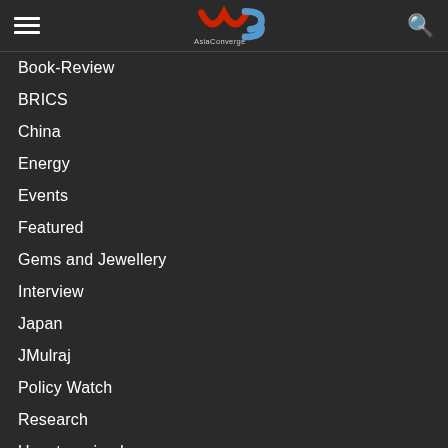AsiaConverge logo with hamburger menu and search icon
Book-Review
BRICS
China
Energy
Events
Featured
Gems and Jewellery
Interview
Japan
JMulraj
Policy Watch
Research
Uncategorised